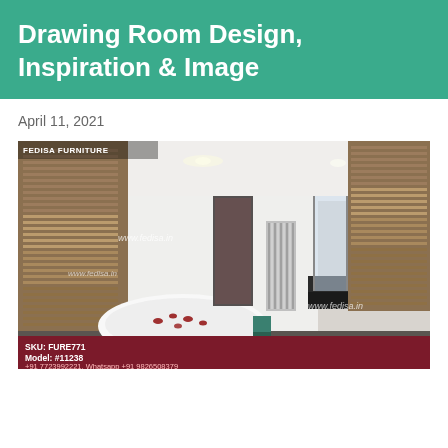Drawing Room Design, Inspiration & Image
April 11, 2021
[Figure (photo): Interior bathroom/drawing room photo showing a luxury modern bathroom with a freestanding oval bathtub with rose petals, wooden venetian blinds on windows, white marble walls, towel rail radiator, vanity counter, and glass shower enclosure. Watermarks reading 'www.fedisa.in' appear across the image. Image branded with 'FEDISA FURNITURE' at top left. Footer shows SKU: FURE771, Model: #11238, phone +91 7723992221, Whatsapp +91 9826508379.]